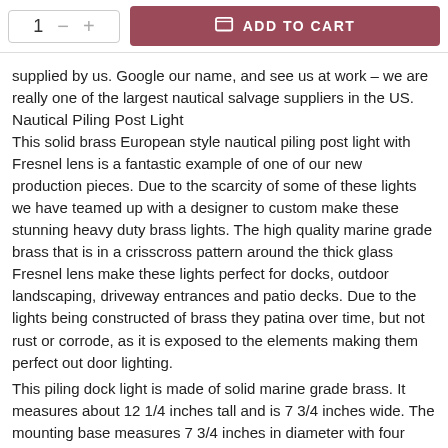supplied by us. Google our name, and see us at work - we are really one of the largest nautical salvage suppliers in the US.
Nautical Piling Post Light
This solid brass European style nautical piling post light with Fresnel lens is a fantastic example of one of our new production pieces. Due to the scarcity of some of these lights we have teamed up with a designer to custom make these stunning heavy duty brass lights. The high quality marine grade brass that is in a crisscross pattern around the thick glass Fresnel lens make these lights perfect for docks, outdoor landscaping, driveway entrances and patio decks. Due to the lights being constructed of brass they patina over time, but not rust or corrode, as it is exposed to the elements making them perfect out door lighting.
This piling dock light is made of solid marine grade brass. It measures about 12 1/4 inches tall and is 7 3/4 inches wide. The mounting base measures 7 3/4 inches in diameter with four mount holes. The 360 degree Fresnel lens is surrounded by a solid brass cage with a crisscross pattern. The lens is made of